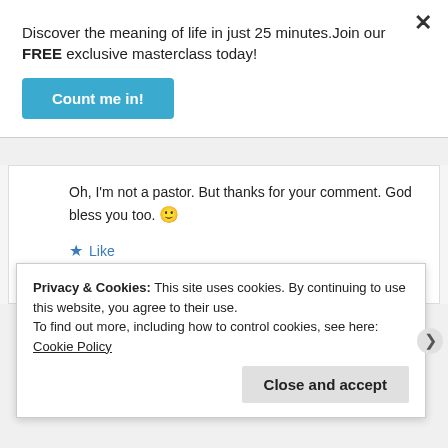Discover the meaning of life in just 25 minutes. Join our FREE exclusive masterclass today!
Count me in!
Oh, I'm not a pastor. But thanks for your comment. God bless you too. 🙂
★ Like
Reply
Privacy & Cookies: This site uses cookies. By continuing to use this website, you agree to their use.
To find out more, including how to control cookies, see here: Cookie Policy
Close and accept